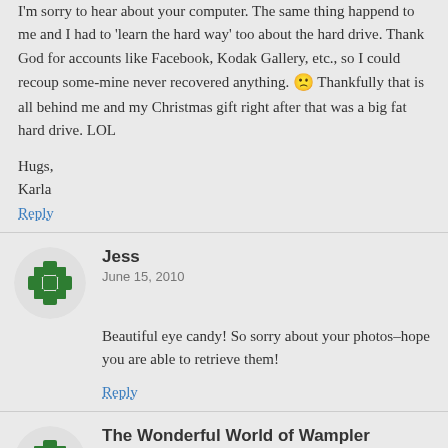I'm sorry to hear about your computer. The same thing happend to me and I had to 'learn the hard way' too about the hard drive. Thank God for accounts like Facebook, Kodak Gallery, etc., so I could recoup some-mine never recovered anything. 🙁 Thankfully that is all behind me and my Christmas gift right after that was a big fat hard drive. LOL
Hugs,
Karla
Reply
Jess
June 15, 2010
Beautiful eye candy! So sorry about your photos–hope you are able to retrieve them!
Reply
The Wonderful World of Wampler
June 15, 2010